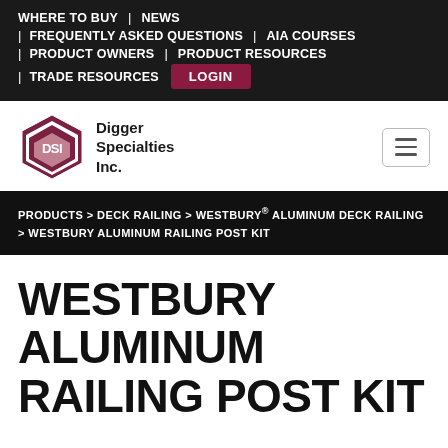WHERE TO BUY | NEWS | FREQUENTLY ASKED QUESTIONS | AIA COURSES | PRODUCT OWNERS | PRODUCT RESOURCES | TRADE RESOURCES LOGIN
[Figure (logo): DSI Digger Specialties Inc. logo — a triangular shield with DSI letters]
Digger Specialties Inc.
PRODUCTS > DECK RAILING > WESTBURY® ALUMINUM DECK RAILING > WESTBURY ALUMINUM RAILING POST KIT
WESTBURY ALUMINUM RAILING POST KIT